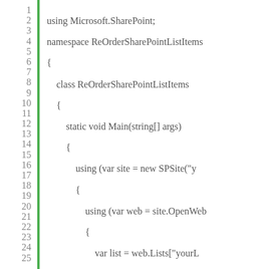[Figure (screenshot): Code editor screenshot showing C# code with line numbers 1-25, a green vertical bar, and syntax-highlighted code for ReOrderSharePointListItems namespace.]